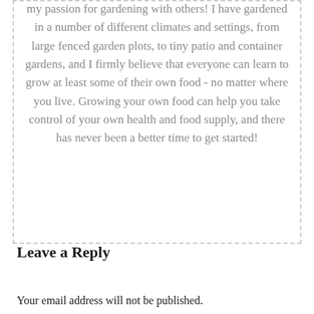my passion for gardening with others! I have gardened in a number of different climates and settings, from large fenced garden plots, to tiny patio and container gardens, and I firmly believe that everyone can learn to grow at least some of their own food - no matter where you live. Growing your own food can help you take control of your own health and food supply, and there has never been a better time to get started!
Leave a Reply
Your email address will not be published.